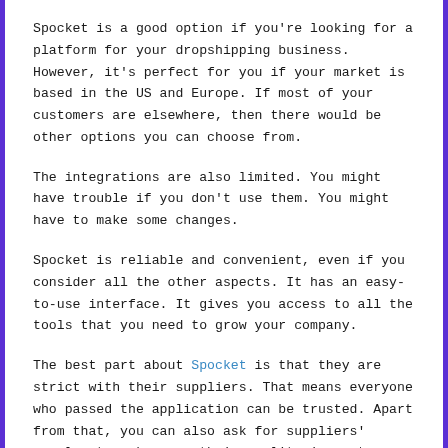Spocket is a good option if you're looking for a platform for your dropshipping business. However, it's perfect for you if your market is based in the US and Europe. If most of your customers are elsewhere, then there would be other options you can choose from.
The integrations are also limited. You might have trouble if you don't use them. You might have to make some changes.
Spocket is reliable and convenient, even if you consider all the other aspects. It has an easy-to-use interface. It gives you access to all the tools that you need to grow your company.
The best part about Spocket is that they are strict with their suppliers. That means everyone who passed the application can be trusted. Apart from that, you can also ask for suppliers' samples to make sure their quality is up to par with what they claim.